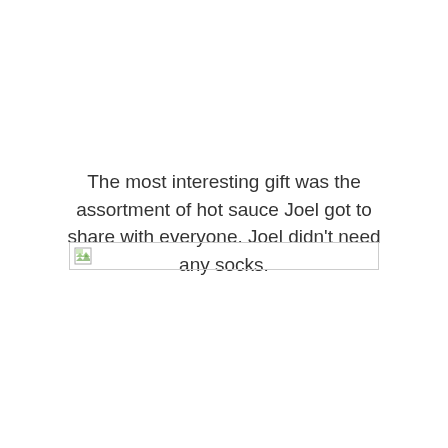The most interesting gift was the assortment of hot sauce Joel got to share with everyone. Joel didn't need any socks.
[Figure (illustration): A broken image placeholder icon with a small landscape thumbnail icon on the left and a horizontal line extending to the right.]